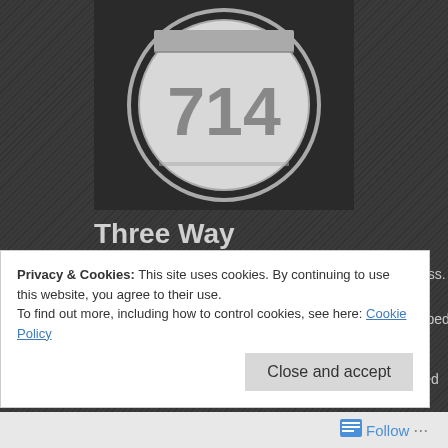[Figure (illustration): Road sign shield with number 714 on dark background]
Three Way
“I have to talk to you.” Loni was waiting outside Art class.
“What’s up?” I asked as we walked to lunch. She stopped and looked at me, hugging her notebook to her cheerleader sweater.
“Joe came in last night, for about an hour.” She glanced up, then back down a
“Cool,” I said. It wasn’t like we were dating. In fact, in the two weeks since he done anything except eat lunch together. I was waiting for her to say she dum
Privacy & Cookies: This site uses cookies. By continuing to use this website, you agree to their use. To find out more, including how to control cookies, see here: Cookie Policy
Close and accept
Follow